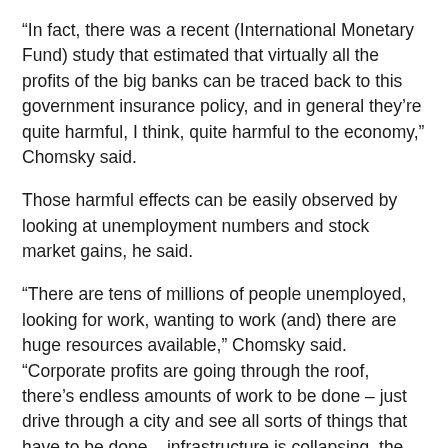“In fact, there was a recent (International Monetary Fund) study that estimated that virtually all the profits of the big banks can be traced back to this government insurance policy, and in general they’re quite harmful, I think, quite harmful to the economy,” Chomsky said.
Those harmful effects can be easily observed by looking at unemployment numbers and stock market gains, he said.
“There are tens of millions of people unemployed, looking for work, wanting to work (and) there are huge resources available,” Chomsky said. “Corporate profits are going through the roof, there’s endless amounts of work to be done – just drive through a city and see all sorts of things that have to be done – infrastructure is collapsing, the schools have to be revived. We have a situation in which huge numbers of people want to work, there are plenty, huge resources available, an enormous amount to be done, and the system is so rotten they